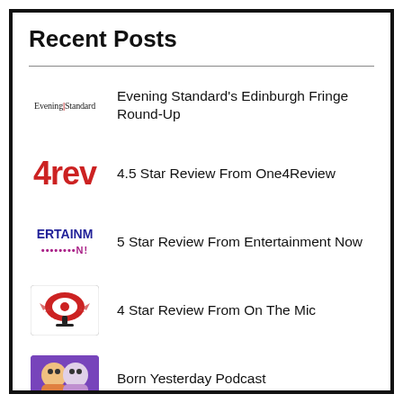Recent Posts
Evening Standard's Edinburgh Fringe Round-Up
4.5 Star Review From One4Review
5 Star Review From Entertainment Now
4 Star Review From On The Mic
Born Yesterday Podcast